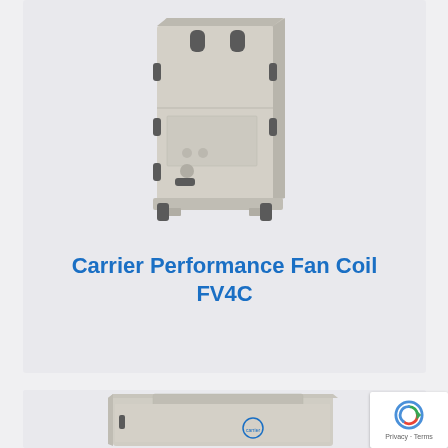[Figure (photo): Carrier Performance Fan Coil FV4C unit - tall upright cream/beige colored HVAC fan coil unit with black mounting points, shown in 3D perspective view]
Carrier Performance Fan Coil FV4C
[Figure (photo): Carrier fan coil unit - horizontal/low-profile cream/beige colored HVAC unit with Carrier logo on front, shown in 3D perspective view (partially visible)]